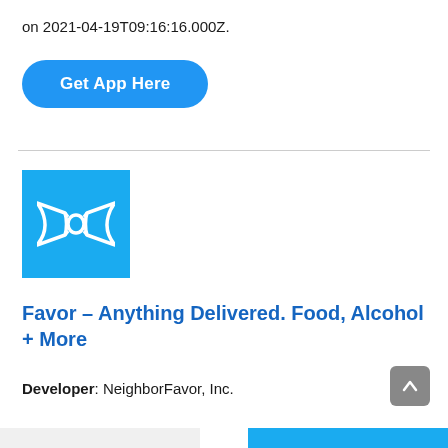on 2021-04-19T09:16:16.000Z.
[Figure (other): Blue pill-shaped button labeled 'Get App Here' in white bold text]
[Figure (logo): Blue square app icon with white bow-tie/bowtie graphic (Favor delivery app logo)]
Favor – Anything Delivered. Food, Alcohol + More
Developer: NeighborFavor, Inc.